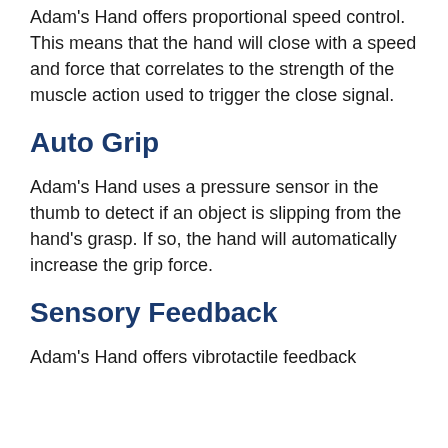Adam's Hand offers proportional speed control. This means that the hand will close with a speed and force that correlates to the strength of the muscle action used to trigger the close signal.
Auto Grip
Adam's Hand uses a pressure sensor in the thumb to detect if an object is slipping from the hand's grasp. If so, the hand will automatically increase the grip force.
Sensory Feedback
Adam's Hand offers vibrotactile feedback